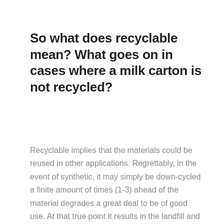So what does recyclable mean? What goes on in cases where a milk carton is not recycled?
Recyclable implies that the materials could be reused in other applications. Regrettably, in the event of synthetic, it may simply be down-cycled a finite amount of times (1-3) ahead of the material degrades a great deal to be of good use. At that true point it results in the landfill and may use up to 450 years+ to biodegrade, if it ever degrades at all. Because japancupid.com chat synthetic